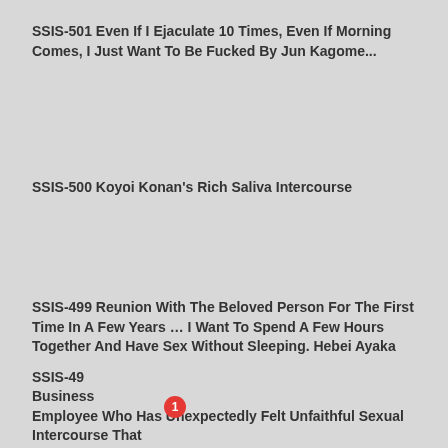SSIS-501 Even If I Ejaculate 10 Times, Even If Morning Comes, I Just Want To Be Fucked By Jun Kagome...
SSIS-500 Koyoi Konan's Rich Saliva Intercourse
SSIS-499 Reunion With The Beloved Person For The First Time In A Few Years … I Want To Spend A Few Hours Together And Have Sex Without Sleeping. Hebei Ayaka
[Figure (screenshot): Notification popup: blue circle avatar with 'Ok' text, red badge '1', title 'Kate sent you (5) pictures', subtitle 'Click OK to display the photo', close X button, footer 'Ads By ClickAdilla a1h']
SSIS-49... Business... Employee Who Has Unexpectedly Felt Unfaithful Sexual Intercourse That